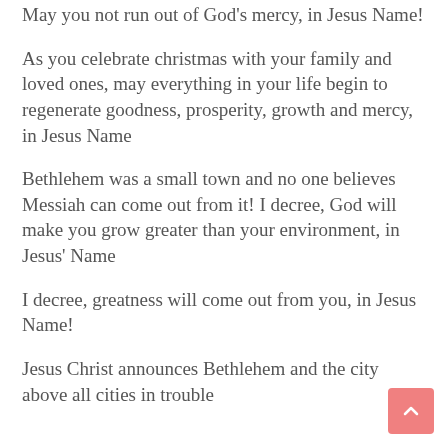May you not run out of God's mercy, in Jesus Name!
As you celebrate christmas with your family and loved ones, may everything in your life begin to regenerate goodness, prosperity, growth and mercy, in Jesus Name
Bethlehem was a small town and no one believes Messiah can come out from it! I decree, God will make you grow greater than your environment, in Jesus' Name
I decree, greatness will come out from you, in Jesus Name!
Jesus Christ announces Bethlehem and the city above all cities in trouble